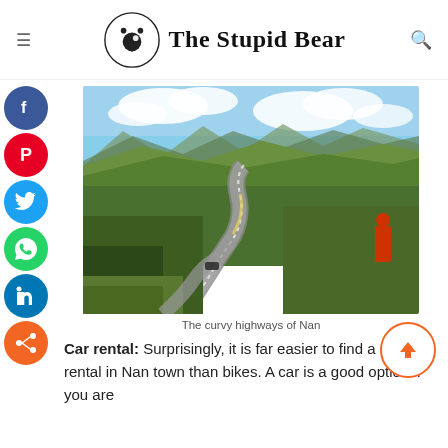The Stupid Bear
[Figure (photo): Curvy winding highway through green mountain landscape in Nan, Thailand, with mountains and clouds in background]
The curvy highways of Nan
Car rental: Surprisingly, it is far easier to find a car rental in Nan town than bikes. A car is a good option if you are